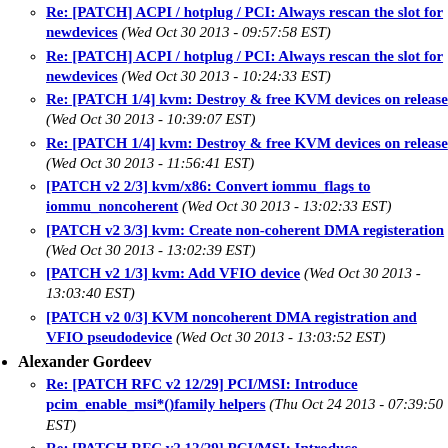Re: [PATCH] ACPI / hotplug / PCI: Always rescan the slot for newdevices (Wed Oct 30 2013 - 09:57:58 EST)
Re: [PATCH] ACPI / hotplug / PCI: Always rescan the slot for newdevices (Wed Oct 30 2013 - 10:24:33 EST)
Re: [PATCH 1/4] kvm: Destroy & free KVM devices on release (Wed Oct 30 2013 - 10:39:07 EST)
Re: [PATCH 1/4] kvm: Destroy & free KVM devices on release (Wed Oct 30 2013 - 11:56:41 EST)
[PATCH v2 2/3] kvm/x86: Convert iommu_flags to iommu_noncoherent (Wed Oct 30 2013 - 13:02:33 EST)
[PATCH v2 3/3] kvm: Create non-coherent DMA registeration (Wed Oct 30 2013 - 13:02:39 EST)
[PATCH v2 1/3] kvm: Add VFIO device (Wed Oct 30 2013 - 13:03:40 EST)
[PATCH v2 0/3] KVM noncoherent DMA registration and VFIO pseudodevice (Wed Oct 30 2013 - 13:03:52 EST)
Alexander Gordeev
Re: [PATCH RFC v2 12/29] PCI/MSI: Introduce pcim_enable_msi*()family helpers (Thu Oct 24 2013 - 07:39:50 EST)
Re: [PATCH RFC v2 12/29] PCI/MSI: Introduce...